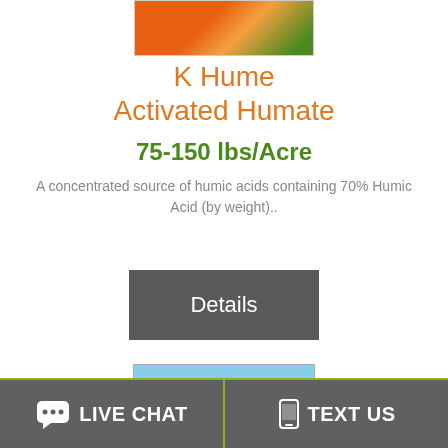[Figure (photo): Close-up photo of orange fruit or flower with green leaves (partially visible at top of page)]
K Hume Activated Humate
75-150 lbs/Acre
A concentrated source of humic acids containing 70% Humic Acid (by weight)..
[Figure (other): Details button - dark grey rectangular button with white text]
[Figure (photo): Close-up photo of cotton plant with white cotton bolls and green seed pods against blue sky]
LIVE CHAT   TEXT US